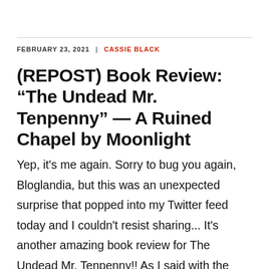FEBRUARY 23, 2021 | CASSIE BLACK
(REPOST) Book Review: “The Undead Mr. Tenpenny” — A Ruined Chapel by Moonlight
Yep, it's me again. Sorry to bug you again, Bloglandia, but this was an unexpected surprise that popped into my Twitter feed today and I couldn't resist sharing... It's another amazing book review for The Undead Mr. Tenpenny!! As I said with the Jaunts & Haunts review posted earlier today, it's far